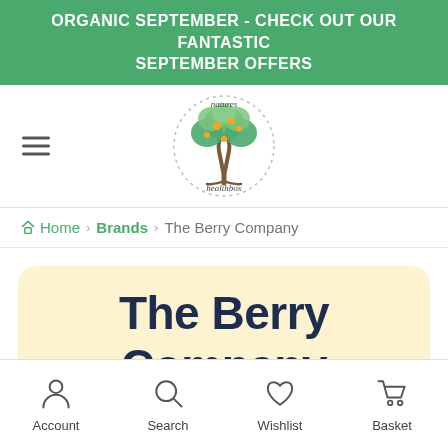ORGANIC SEPTEMBER - CHECK OUT OUR FANTASTIC SEPTEMBER OFFERS
[Figure (logo): Natures Healthbox logo — a tree with green and orange foliage inside a dotted circle, with 'natures' above and 'healthbox' below]
Home › Brands › The Berry Company
The Berry Company
Account  Search  Wishlist  Basket